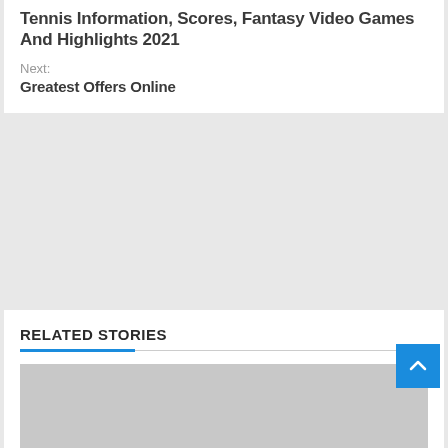Tennis Information, Scores, Fantasy Video Games And Highlights 2021
Next:
Greatest Offers Online
RELATED STORIES
[Figure (photo): Large gray placeholder image for a related story]